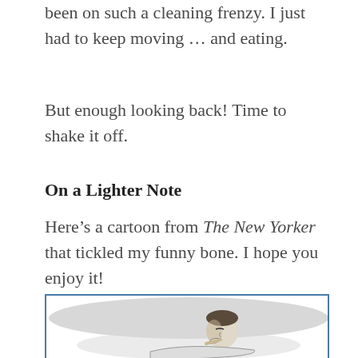been on such a cleaning frenzy. I just had to keep moving … and eating.
But enough looking back! Time to shake it off.
On a Lighter Note
Here's a cartoon from The New Yorker that tickled my funny bone. I hope you enjoy it!
[Figure (illustration): A New Yorker cartoon showing a person lying down, rendered in black ink and grey wash style.]